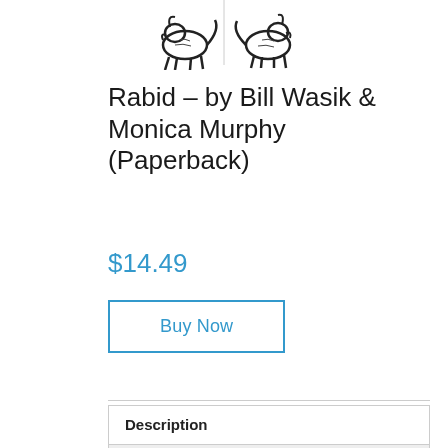[Figure (illustration): Partial book cover image showing illustrated animals (dogs/wolves) in black and white, cropped at top of page]
Rabid – by Bill Wasik & Monica Murphy (Paperback)
$14.49
Buy Now
SKU: 15267016611139459
Description
Reviews (0)